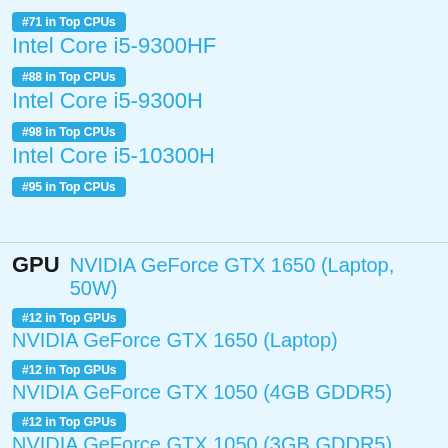#71 in Top CPUs — Intel Core i5-9300HF
#88 in Top CPUs — Intel Core i5-9300H
#98 in Top CPUs — Intel Core i5-10300H
#95 in Top CPUs
GPU  NVIDIA GeForce GTX 1650 (Laptop, 50W)
#12 in Top GPUs — NVIDIA GeForce GTX 1650 (Laptop)
#12 in Top GPUs — NVIDIA GeForce GTX 1050 (4GB GDDR5)
#12 in Top GPUs — NVIDIA GeForce GTX 1050 (3GB GDDR5)
#12 in Top GPUs